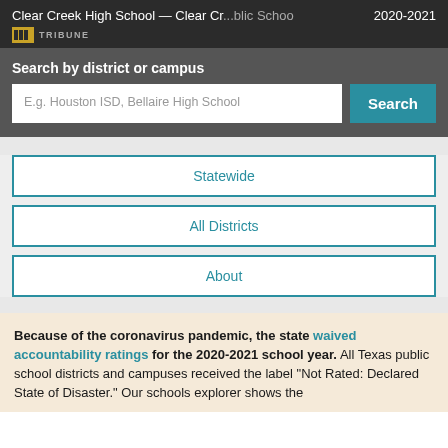Clear Creek High School — Clear Cr...blic School 2020-2021
Search by district or campus
E.g. Houston ISD, Bellaire High School
Statewide
All Districts
About
Because of the coronavirus pandemic, the state waived accountability ratings for the 2020-2021 school year. All Texas public school districts and campuses received the label "Not Rated: Declared State of Disaster." Our schools explorer shows the